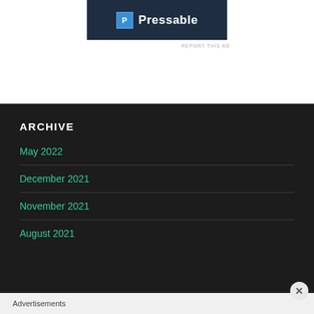[Figure (logo): Pressable logo on dark navy background with a P icon in a blue box]
REPORT THIS AD
ARCHIVE
May 2022
December 2021
November 2021
August 2021
Advertisements